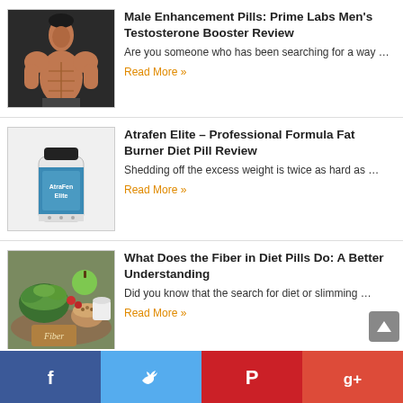[Figure (photo): Muscular shirtless man posing]
Male Enhancement Pills: Prime Labs Men's Testosterone Booster Review
Are you someone who has been searching for a way …
Read More »
[Figure (photo): AtraFen Elite supplement bottle]
Atrafen Elite – Professional Formula Fat Burner Diet Pill Review
Shedding off the excess weight is twice as hard as …
Read More »
[Figure (photo): Vegetables and fiber foods with Fiber sign]
What Does the Fiber in Diet Pills Do: A Better Understanding
Did you know that the search for diet or slimming …
Read More »
Facebook | Twitter | Pinterest | Google+